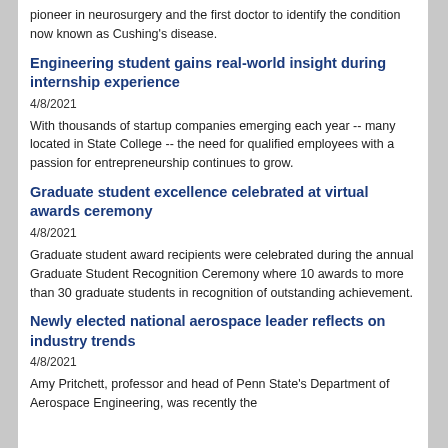pioneer in neurosurgery and the first doctor to identify the condition now known as Cushing's disease.
Engineering student gains real-world insight during internship experience
4/8/2021
With thousands of startup companies emerging each year -- many located in State College -- the need for qualified employees with a passion for entrepreneurship continues to grow.
Graduate student excellence celebrated at virtual awards ceremony
4/8/2021
Graduate student award recipients were celebrated during the annual Graduate Student Recognition Ceremony where 10 awards to more than 30 graduate students in recognition of outstanding achievement.
Newly elected national aerospace leader reflects on industry trends
4/8/2021
Amy Pritchett, professor and head of Penn State's Department of Aerospace Engineering, was recently the